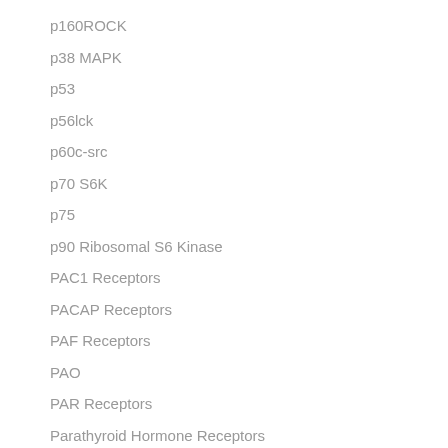p160ROCK
p38 MAPK
p53
p56lck
p60c-src
p70 S6K
p75
p90 Ribosomal S6 Kinase
PAC1 Receptors
PACAP Receptors
PAF Receptors
PAO
PAR Receptors
Parathyroid Hormone Receptors
PARP